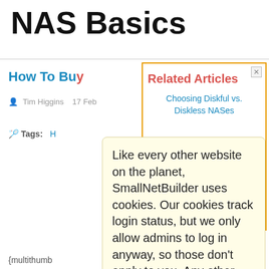NAS Basics
How To Buy [article title partially hidden] Related Articles [ition visible]
Tim Higgins   17 Feb[ruary]
Tags: H[idden tags] The [partially visible] odated [updated]
3
Thecus
{multithumb[...]}
Introdu[ction]
Related Articles
Choosing Diskful vs. Diskless NASes
Like every other website on the planet, SmallNetBuilder uses cookies. Our cookies track login status, but we only allow admins to log in anyway, so those don't apply to you. Any other cookies you pick up during your visit come from advertisers, which we don't control.
If you continue to use the site, you agree to tolerate our use of cookies. Thank you!